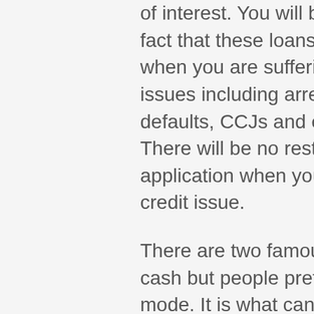of interest. You will be happy to know the fact that these loans also take care of you when you are suffering from lots of credit issues including arrears, bankruptcy, defaults, CCJs and even insolvent feature. There will be no restriction for you loan application when you apply for it with any credit issue.
There are two famous ways of gaining cash but people prefer to go with the online mode. It is what can make your life relaxed. You can see money in your pocket within